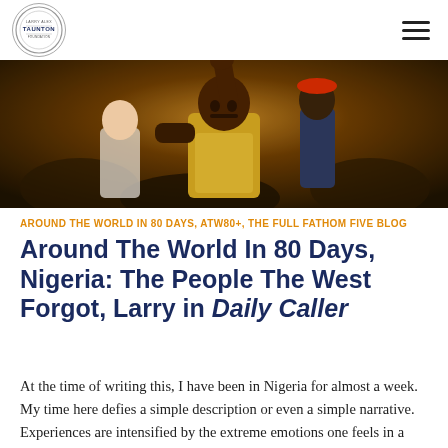LARRY ALEX TAUNTON (logo) | hamburger menu
[Figure (photo): A young Black man with his fist raised in the air, wearing a yellow shirt, surrounded by a crowd. Dark, dramatic crowd scene photograph.]
AROUND THE WORLD IN 80 DAYS, ATW80+, THE FULL FATHOM FIVE BLOG
Around The World In 80 Days, Nigeria: The People The West Forgot, Larry in Daily Caller
At the time of writing this, I have been in Nigeria for almost a week. My time here defies a simple description or even a simple narrative.  Experiences are intensified by the extreme emotions one feels in a place like this: The encouragement I felt at meeting people with whom Read more…